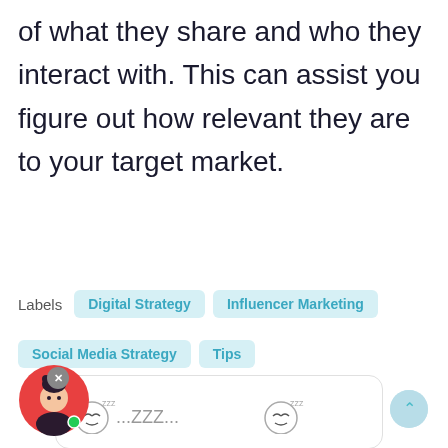of what they share and who they interact with. This can assist you figure out how relevant they are to your target market.
Labels  Digital Strategy  Influencer Marketing  Social Media Strategy  Tips
[Figure (illustration): A white rounded box containing sleeping face emoji with ZZZ text: emoji...ZZZ...emoji]
[Figure (illustration): Avatar of a girl with dark hair on a red circle background with a green online indicator dot]
[Figure (illustration): Scroll-to-top button, light teal circle with an upward arrow]